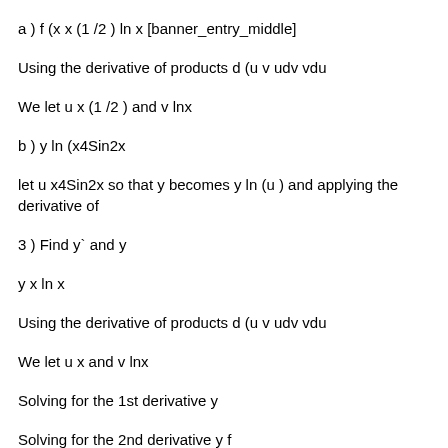a ) f (x x (1 /2 ) ln x [banner_entry_middle]
Using the derivative of products d (u v udv vdu
We let u x (1 /2 ) and v lnx
b ) y ln (x4Sin2x
let u x4Sin2x so that y becomes y ln (u ) and applying the derivative of
3 ) Find y` and y
y x ln x
Using the derivative of products d (u v udv vdu
We let u x and v lnx
Solving for the 1st derivative y
Solving for the 2nd derivative y f